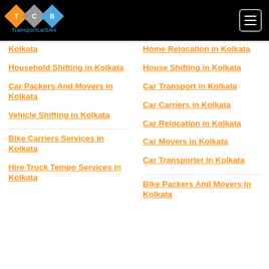TCB Transportcarbike
Kolkata
Home Relocation in Kolkata
Household Shifting in Kolkata
House Shifting in Kolkata
Car Transport in Kolkata
Car Packers And Movers in Kolkata
Car Carriers in Kolkata
Car Relocation in Kolkata
Vehicle Shifting in Kolkata
Car Movers in Kolkata
Car Transporter in Kolkata
Bike Carriers Services in Kolkata
Bike Packers And Movers in Kolkata
Hire Truck Tempo Services in Kolkata